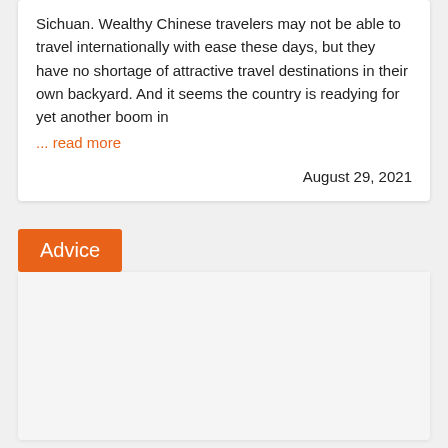Sichuan. Wealthy Chinese travelers may not be able to travel internationally with ease these days, but they have no shortage of attractive travel destinations in their own backyard. And it seems the country is readying for yet another boom in
... read more
August 29, 2021
Advice